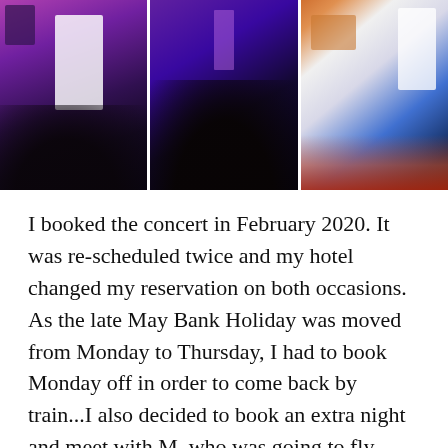[Figure (photo): Three concert photos side by side showing performers on stage with purple and pink stage lighting. Left photo shows a performer in white against purple lights. Middle photo shows a dark silhouetted crowd view with purple stage lights. Right photo shows a guitarist in white playing on stage with colorful lighting.]
I booked the concert in February 2020. It was rescheduled twice and my hotel changed my reservation on both occasions. As the late May Bank Holiday was moved from Monday to Thursday, I had to book Monday off in order to come back by train...I also decided to book an extra night and meet with M. who was going to fly from Dublin...except she never did, due to unforseen circumstances. Having visited Sheffield in 2018 during my informal property hunt I kind of knew what to expect, but I felt rather let down. The locals were lovely, really friendly and the city tries to cater to its student population the best it can but the streets seemed weirdly